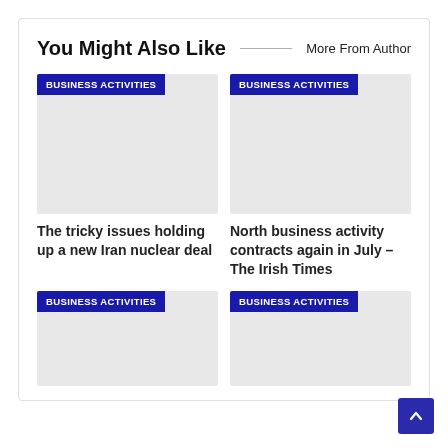You Might Also Like
More From Author
[Figure (screenshot): Article card with BUSINESS ACTIVITIES badge and grey image placeholder]
[Figure (screenshot): Article card with BUSINESS ACTIVITIES badge and grey image placeholder]
The tricky issues holding up a new Iran nuclear deal
North business activity contracts again in July – The Irish Times
[Figure (screenshot): Article card with BUSINESS ACTIVITIES badge and grey image placeholder (partially visible)]
[Figure (screenshot): Article card with BUSINESS ACTIVITIES badge and grey image placeholder (partially visible)]